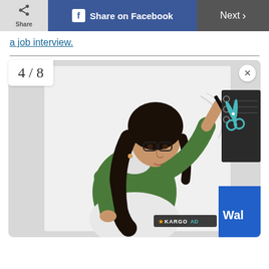Share | Share on Facebook | Next >
a job interview.
[Figure (photo): A young woman with long dark hair and glasses, wearing a green sweater over a white shirt, writing on a whiteboard with a marker. The image shows a 4/8 counter badge in the top left, a close button at the top right, a KARGO AD badge at the bottom right, and a partial blue advertisement overlay on the right side with scissors and notebook visible.]